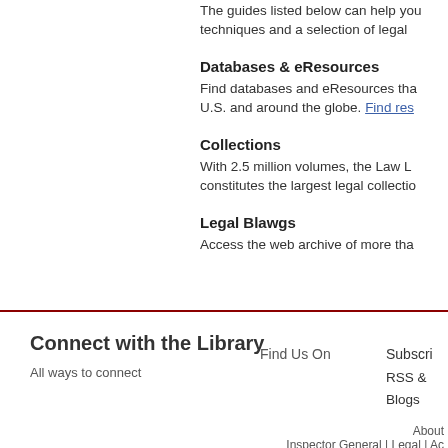The guides listed below can help you... techniques and a selection of legal
Databases & eResources
Find databases and eResources tha... U.S. and around the globe. Find res...
Collections
With 2.5 million volumes, the Law L... constitutes the largest legal collectio...
Legal Blawgs
Access the web archive of more tha...
Connect with the Library
All ways to connect
Find Us On
Subscri...
RSS &
Blogs
About
Inspector General | Legal | Ac...